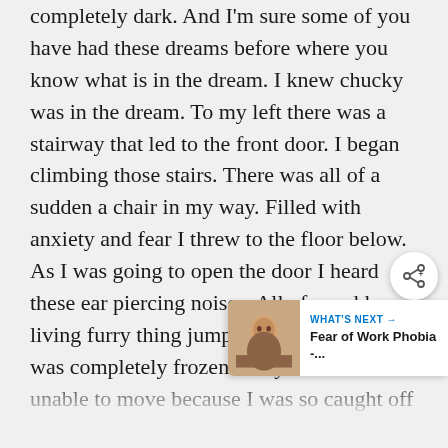completely dark. And I'm sure some of you have had these dreams before where you know what is in the dream. I knew chucky was in the dream. To my left there was a stairway that led to the front door. I began climbing those stairs. There was all of a sudden a chair in my way. Filled with anxiety and fear I threw to the floor below. As I was going to open the door I heard these ear piercing noises. All of a sudden a living furry thing jumping into my hands. I was completely frozen in my dream and unable to move because I was so caught off guard (I fear loud and obscure noises well) as I was frozen in fear trying to throw whatever was in my hands down and run
[Figure (infographic): Share button (circular white button with share icon) overlaid on the text content]
[Figure (infographic): What's Next banner showing 'WHAT'S NEXT →' label and 'Fear of Work Phobia -...' title with a thumbnail image of a person's face]